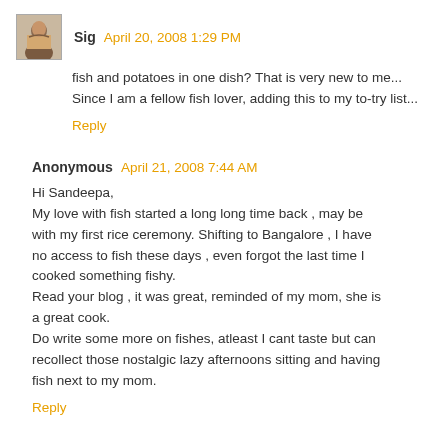[Figure (photo): Small avatar photo of a person]
Sig  April 20, 2008 1:29 PM
fish and potatoes in one dish? That is very new to me... Since I am a fellow fish lover, adding this to my to-try list...
Reply
Anonymous  April 21, 2008 7:44 AM
Hi Sandeepa,
My love with fish started a long long time back , may be with my first rice ceremony. Shifting to Bangalore , I have no access to fish these days , even forgot the last time I cooked something fishy.
Read your blog , it was great, reminded of my mom, she is a great cook.
Do write some more on fishes, atleast I cant taste but can recollect those nostalgic lazy afternoons sitting and having fish next to my mom.
Reply